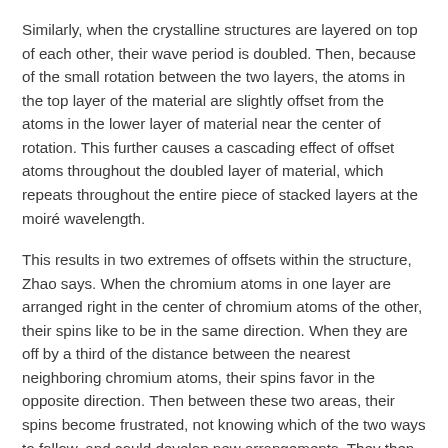Similarly, when the crystalline structures are layered on top of each other, their wave period is doubled. Then, because of the small rotation between the two layers, the atoms in the top layer of the material are slightly offset from the atoms in the lower layer of material near the center of rotation. This further causes a cascading effect of offset atoms throughout the doubled layer of material, which repeats throughout the entire piece of stacked layers at the moiré wavelength.
This results in two extremes of offsets within the structure, Zhao says. When the chromium atoms in one layer are arranged right in the center of chromium atoms of the other, their spins like to be in the same direction. When they are off by a third of the distance between the nearest neighboring chromium atoms, their spins favor in the opposite direction. Then between these two areas, their spins become frustrated, not knowing which of the two ways to follow, and could develop new arrangements. They then, for example, can become spiraled. The different kinds of spin orientations within the same material creates more opportunities to store information.